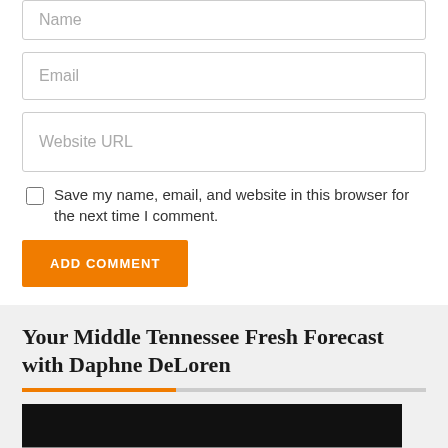Name
Email
Website URL
Save my name, email, and website in this browser for the next time I comment.
ADD COMMENT
Your Middle Tennessee Fresh Forecast with Daphne DeLoren
[Figure (photo): Photo of Daphne DeLoren, partially visible, with dark upper portion and lighter lower portion showing a person.]